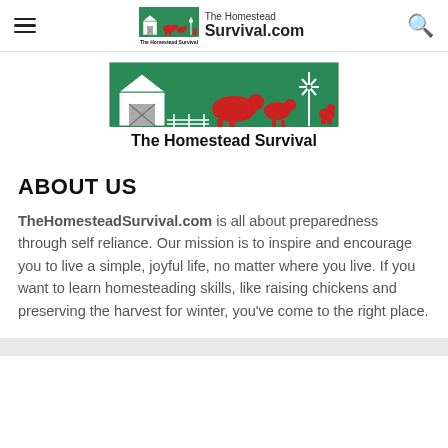The Homestead Survival.com
[Figure (logo): The Homestead Survival logo banner showing a green barn, red cow, goat, windmill, and chicken on green background with text 'The Homestead Survival']
ABOUT US
TheHomesteadSurvival.com is all about preparedness through self reliance. Our mission is to inspire and encourage you to live a simple, joyful life, no matter where you live. If you want to learn homesteading skills, like raising chickens and preserving the harvest for winter, you've come to the right place.